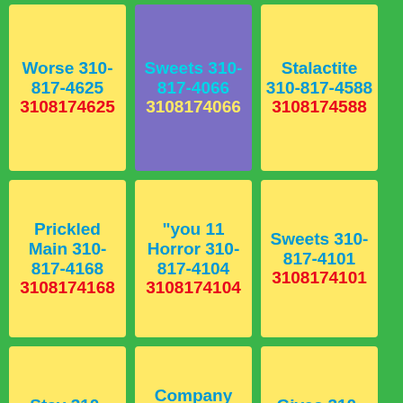Worse 310-817-4625 3108174625
Sweets 310-817-4066 3108174066
Stalactite 310-817-4588 3108174588
Prickled Main 310-817-4168 3108174168
"you 11 Horror 310-817-4104 3108174104
Sweets 310-817-4101 3108174101
Stay 310-817-4607 3108174607
Company Won Hairs 310-817-4408 3108174408
Gives 310-817-4723 3108174723
Saying Daylight 310-817-4455 3108174455
Mysteriously 310-817-4421 3108174421
Done Nails 310-817-4215 3108174215